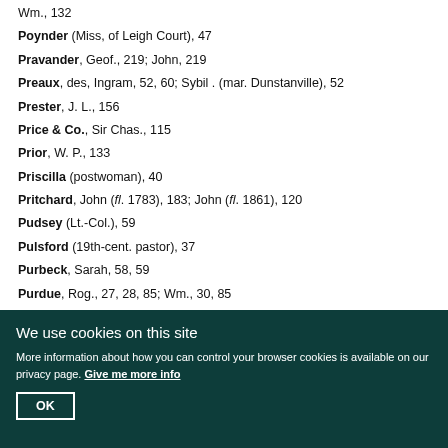Wm., 132
Poynder (Miss, of Leigh Court), 47
Pravander, Geof., 219; John, 219
Preaux, des, Ingram, 52, 60; Sybil . (mar. Dunstanville), 52
Prester, J. L., 156
Price & Co., Sir Chas., 115
Prior, W. P., 133
Priscilla (postwoman), 40
Pritchard, John (fl. 1783), 183; John (fl. 1861), 120
Pudsey (Lt.-Col.), 59
Pulsford (19th-cent. pastor), 37
Purbeck, Sarah, 58, 59
Purdue, Rog., 27, 28, 85; Wm., 30, 85
We use cookies on this site
More information about how you can control your browser cookies is available on our privacy page. Give me more info
OK